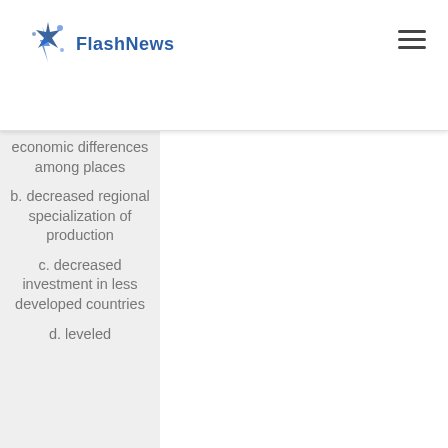FlashNews
economic differences among places
b. decreased regional specialization of production
c. decreased investment in less developed countries
d. leveled